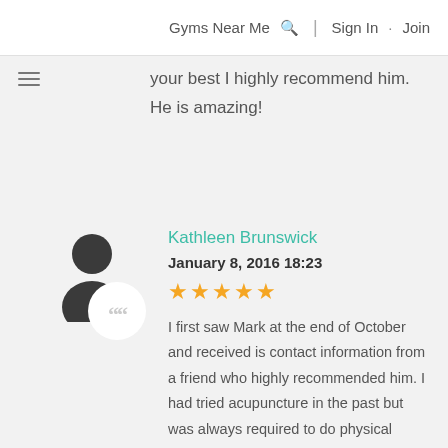Gyms Near Me 🔍 | Sign In · Join
your best I highly recommend him. He is amazing!
Kathleen Brunswick
January 8, 2016 18:23
★★★★★
I first saw Mark at the end of October and received is contact information from a friend who highly recommended him. I had tried acupuncture in the past but was always required to do physical therapy